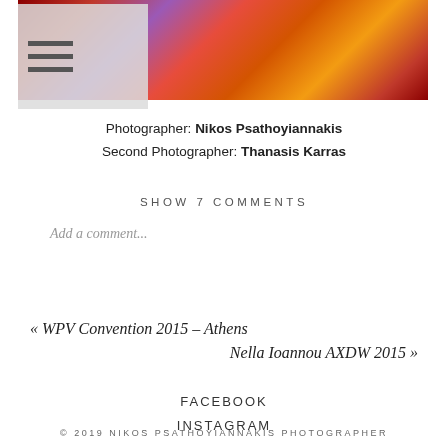[Figure (photo): Top banner photo with blurred colorful lights — red, purple, orange tones — with a hamburger/menu icon overlay on the left side]
Photographer: Nikos Psathoyiannakis
Second Photographer: Thanasis Karras
SHOW 7 COMMENTS
Add a comment...
« WPV Convention 2015 – Athens
Nella Ioannou AXDW 2015 »
FACEBOOK
INSTAGRAM
© 2019 NIKOS PSATHOYIANNAKIS PHOTOGRAPHER